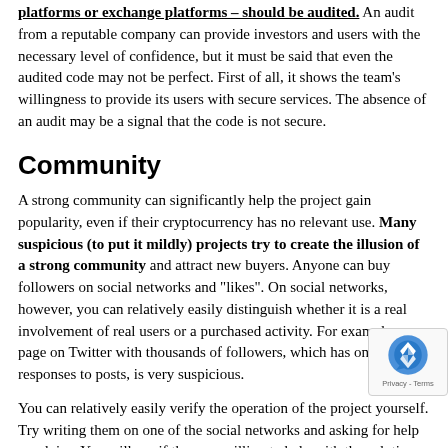platforms or exchange platforms – should be audited. An audit from a reputable company can provide investors and users with the necessary level of confidence, but it must be said that even the audited code may not be perfect. First of all, it shows the team's willingness to provide its users with secure services. The absence of an audit may be a signal that the code is not secure.
Community
A strong community can significantly help the project gain popularity, even if their cryptocurrency has no relevant use. Many suspicious (to put it mildly) projects try to create the illusion of a strong community and attract new buyers. Anyone can buy followers on social networks and "likes". On social networks, however, you can relatively easily distinguish whether it is a real involvement of real users or a purchased activity. For example, a page on Twitter with thousands of followers, which has only a few responses to posts, is very suspicious.
You can relatively easily verify the operation of the project yourself. Try writing them on one of the social networks and asking for help or advice. You will see if they are willing to help with the solution or if the community will be involved in the communication. If the channel is constantly memorized and who is moderating it, this is usually not a good sign. The type of people